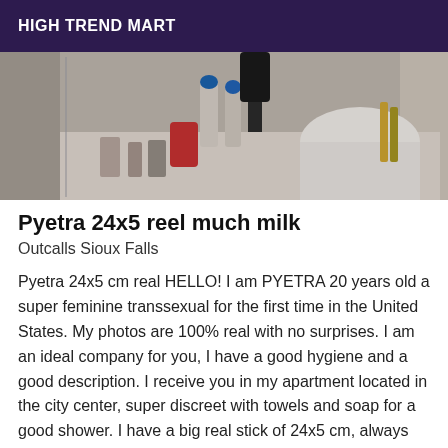HIGH TREND MART
[Figure (photo): A bathroom scene photographed in a mirror, showing toiletries, bottles with blue caps, a red container, and a faucet/sink area with a white basin.]
Pyetra 24x5 reel much milk
Outcalls Sioux Falls
Pyetra 24x5 cm real HELLO! I am PYETRA 20 years old a super feminine transsexual for the first time in the United States. My photos are 100% real with no surprises. I am an ideal company for you, I have a good hygiene and a good description. I receive you in my apartment located in the city center, super discreet with towels and soap for a good shower. I have a big real stick of 24x5 cm, always hard, I can eject a lot of milk. I love couples, I like to be active with women. Call 20 minutes before the appointment so I can be sexy with